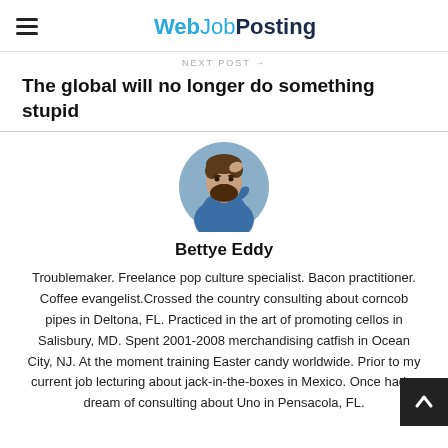WebJobPosting
NEXT POST →
The global will no longer do something stupid
[Figure (photo): Circular profile photo of a bearded man in a blue shirt]
Bettye Eddy
Troublemaker. Freelance pop culture specialist. Bacon practitioner. Coffee evangelist.Crossed the country consulting about corncob pipes in Deltona, FL. Practiced in the art of promoting cellos in Salisbury, MD. Spent 2001-2008 merchandising catfish in Ocean City, NJ. At the moment training Easter candy worldwide. Prior to my current job lecturing about jack-in-the-boxes in Mexico. Once had a dream of consulting about Uno in Pensacola, FL.